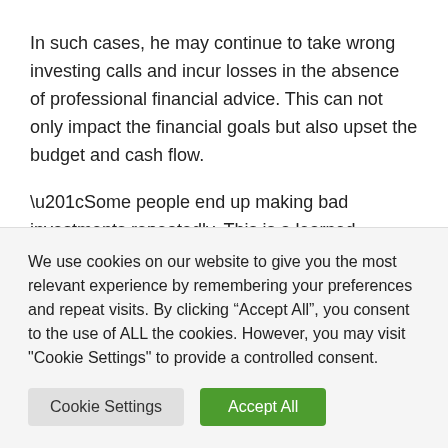In such cases, he may continue to take wrong investing calls and incur losses in the absence of professional financial advice. This can not only impact the financial goals but also upset the budget and cash flow.
“Some people end up making bad investments repeatedly. This is a learned behaviour that becomes a habit, even releasing dopamine into the brain and making the erratic decision feel like the most logical one,” says Kohli
We use cookies on our website to give you the most relevant experience by remembering your preferences and repeat visits. By clicking “Accept All”, you consent to the use of ALL the cookies. However, you may visit "Cookie Settings" to provide a controlled consent.